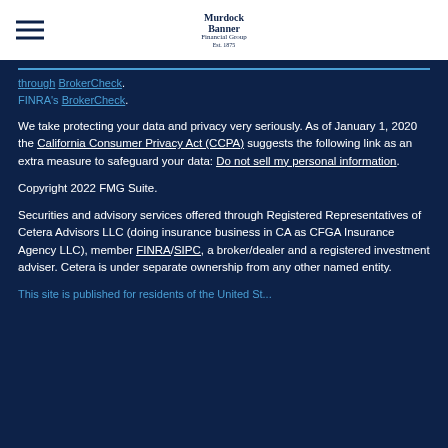Murdock Banner Financial Group Est. 1975
through FINRA's BrokerCheck.
We take protecting your data and privacy very seriously. As of January 1, 2020 the California Consumer Privacy Act (CCPA) suggests the following link as an extra measure to safeguard your data: Do not sell my personal information.
Copyright 2022 FMG Suite.
Securities and advisory services offered through Registered Representatives of Cetera Advisors LLC (doing insurance business in CA as CFGA Insurance Agency LLC), member FINRA/SIPC, a broker/dealer and a registered investment adviser. Cetera is under separate ownership from any other named entity.
This site is published for residents of the United St...